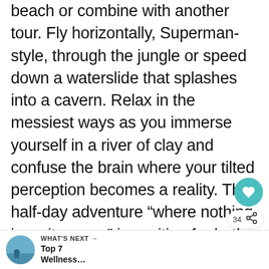beach or combine with another tour. Fly horizontally, Superman-style, through the jungle or speed down a waterslide that splashes into a cavern. Relax in the messiest ways as you immerse yourself in a river of clay and confuse the brain where your tilted perception becomes a reality. This half-day adventure “where nothing is as it seems” is exciting for both kids and adults alike. This series of fun and interactive experiences are packed in an affordable half- y adventure that you can enjoy and head to th beach afterward or combine with anot
[Figure (screenshot): UI overlay with heart/like button (teal circle with heart icon), like count '34', share icon, and 'What's Next' bar at bottom showing thumbnail and 'Top 7 Wellness...' text]